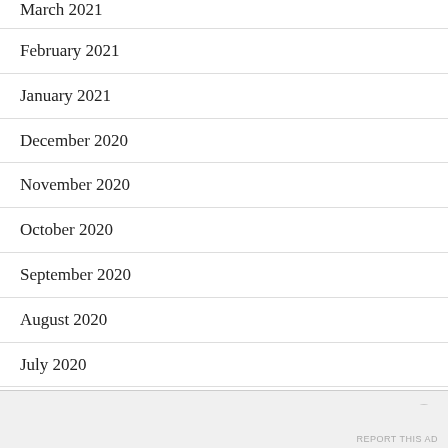March 2021
February 2021
January 2021
December 2020
November 2020
October 2020
September 2020
August 2020
July 2020
June 2020
Advertisements
REPORT THIS AD